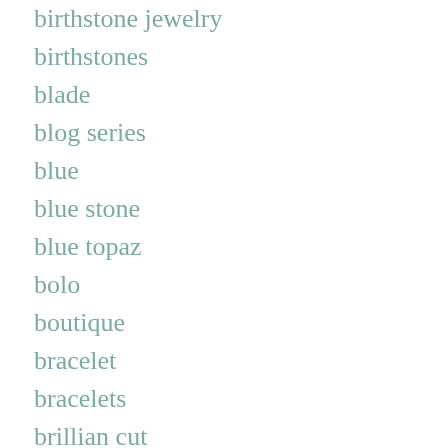birthstone jewelry
birthstones
blade
blog series
blue
blue stone
blue topaz
bolo
boutique
bracelet
bracelets
brillian cut
Brooch
Burma